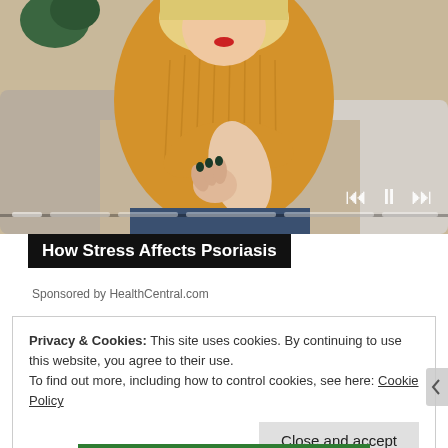[Figure (photo): Woman in yellow/mustard knit sweater sitting on couch, holding/scratching her elbow with both hands. Photo also shows video player controls (skip back, pause, skip forward) and a progress bar overlay at the bottom.]
How Stress Affects Psoriasis
Sponsored by HealthCentral.com
Privacy & Cookies: This site uses cookies. By continuing to use this website, you agree to their use.
To find out more, including how to control cookies, see here: Cookie Policy
Close and accept